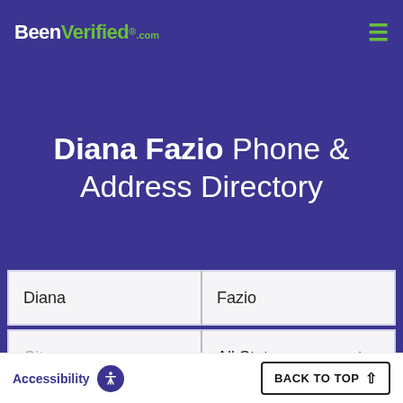BeenVerified.com
Diana Fazio Phone & Address Directory
Diana | Fazio | City | All States | SEARCH
Accessibility | BACK TO TOP